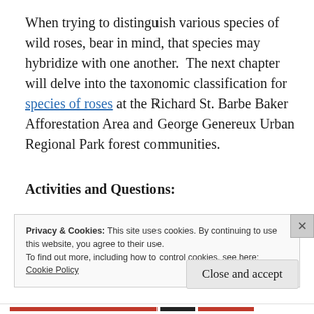When trying to distinguish various species of wild roses, bear in mind, that species may hybridize with one another.  The next chapter will delve into the taxonomic classification for species of roses at the Richard St. Barbe Baker Afforestation Area and George Genereux Urban Regional Park forest communities.
Activities and Questions:
Privacy & Cookies: This site uses cookies. By continuing to use this website, you agree to their use.
To find out more, including how to control cookies, see here:
Cookie Policy